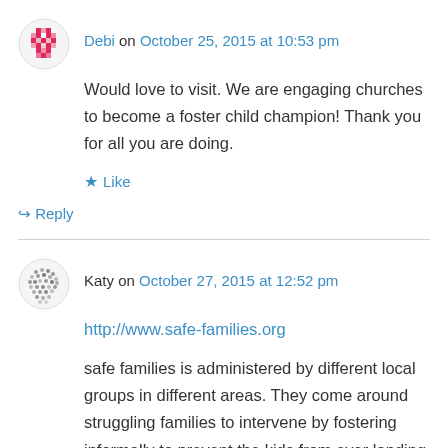Debi on October 25, 2015 at 10:53 pm
Would love to visit. We are engaging churches to become a foster child champion! Thank you for all you are doing.
★ Like
↳ Reply
Katy on October 27, 2015 at 12:52 pm
http://www.safe-families.org
safe families is administered by different local groups in different areas. They come around struggling families to intervene by fostering informally to prevent the kids from ever landing